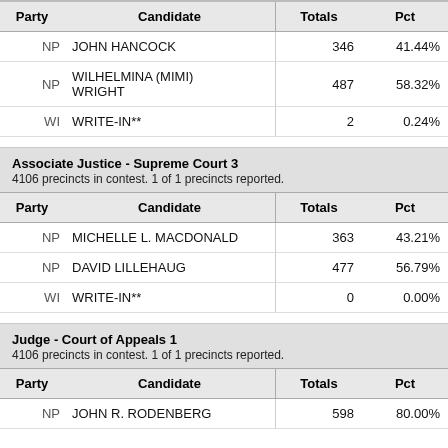| Party | Candidate | Totals | Pct |
| --- | --- | --- | --- |
| NP | JOHN HANCOCK | 346 | 41.44% |
| NP | WILHELMINA (MIMI) WRIGHT | 487 | 58.32% |
| WI | WRITE-IN** | 2 | 0.24% |
Associate Justice - Supreme Court 3
4106 precincts in contest. 1 of 1 precincts reported.
| Party | Candidate | Totals | Pct |
| --- | --- | --- | --- |
| NP | MICHELLE L. MACDONALD | 363 | 43.21% |
| NP | DAVID LILLEHAUG | 477 | 56.79% |
| WI | WRITE-IN** | 0 | 0.00% |
Judge - Court of Appeals 1
4106 precincts in contest. 1 of 1 precincts reported.
| Party | Candidate | Totals | Pct |
| --- | --- | --- | --- |
| NP | JOHN R. RODENBERG | 598 | 80.00% |